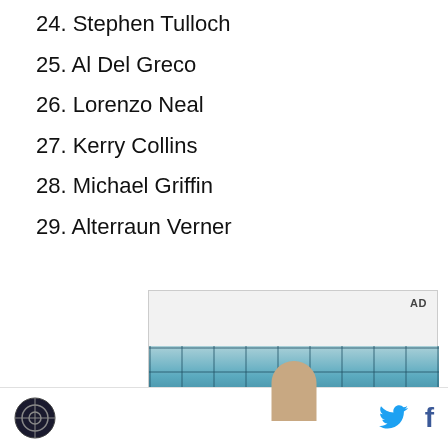24. Stephen Tulloch
25. Al Del Greco
26. Lorenzo Neal
27. Kerry Collins
28. Michael Griffin
29. Alterraun Verner
[Figure (photo): Advertisement banner with photo of a person in front of a blue grid/window background]
Site logo icon, Twitter share icon, Facebook share icon